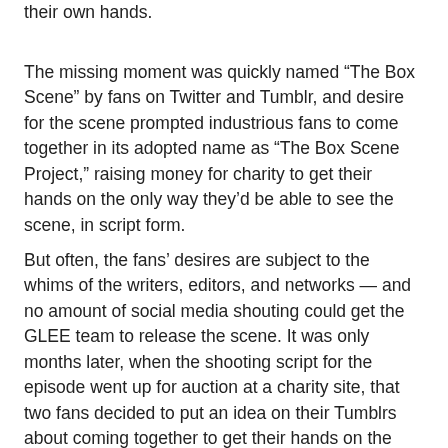their own hands.
The missing moment was quickly named “The Box Scene” by fans on Twitter and Tumblr, and desire for the scene prompted industrious fans to come together in its adopted name as “The Box Scene Project,” raising money for charity to get their hands on the only way they’d be able to see the scene, in script form.
But often, the fans’ desires are subject to the whims of the writers, editors, and networks — and no amount of social media shouting could get the GLEE team to release the scene. It was only months later, when the shooting script for the episode went up for auction at a charity site, that two fans decided to put an idea on their Tumblrs about coming together to get their hands on the precious content. Soon friends of friends started getting involved, and the idea created a movement that bonded many GLEE fans together into a charity fundraising collective called The Box Scene Project that comprises more than 1,500 participants worldwide.